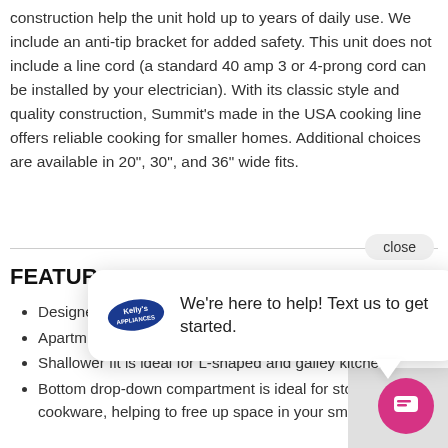construction help the unit hold up to years of daily use. We include an anti-tip bracket for added safety. This unit does not include a line cord (a standard 40 amp 3 or 4-prong cord can be installed by your electrician). With its classic style and quality construction, Summit's made in the USA cooking line offers reliable cooking for smaller homes. Additional choices are available in 20", 30", and 36" wide fits.
FEATUR...
Designed...
Apartment... you need in a smaller footprint
Shallower fit is ideal for L-shaped and galley kitchens
Bottom drop-down compartment is ideal for storing cookware, helping to free up space in your small kitchen
[Figure (screenshot): Chat popup overlay with logo reading 'We're here to help! Text us to get started.' and a pink chat button in the bottom right corner. A 'close' button appears at top right of the popup area.]